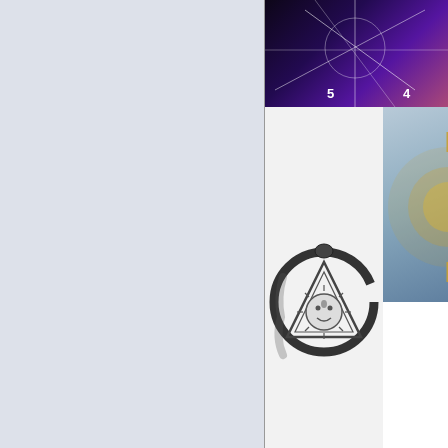[Figure (illustration): Left panel with light blue-grey background, empty content area]
[Figure (photo): Top right: dark purple/cosmic background with geometric white lines and numbers 5 and 4 visible at bottom]
[Figure (illustration): Middle right main: Ouroboros (snake eating its tail) encircling a triangle with an all-seeing eye / sun face in center, black and white engraving style]
[Figure (illustration): Middle right side: golden/yellow spiky radiant pattern on blue-grey background, partially cropped]
Resultado de imagen para chie
[Figure (illustration): Bottom right: dark grey background with a large golden/yellow arc or circle segment in lower right portion]